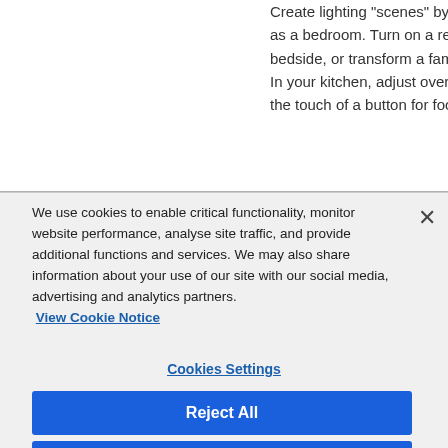Create lighting "scenes" by con as a bedroom. Turn on a readin bedside, or transform a family ro In your kitchen, adjust overhea the touch of a button for food pr
We use cookies to enable critical functionality, monitor website performance, analyse site traffic, and provide additional functions and services. We may also share information about your use of our site with our social media, advertising and analytics partners.
View Cookie Notice
Cookies Settings
Reject All
Accept All